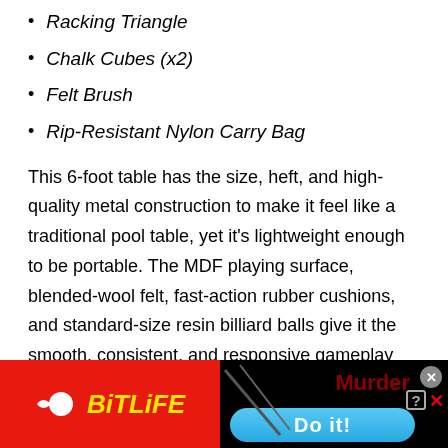Racking Triangle
Chalk Cubes (x2)
Felt Brush
Rip-Resistant Nylon Carry Bag
This 6-foot table has the size, heft, and high-quality metal construction to make it feel like a traditional pool table, yet it's lightweight enough to be portable. The MDF playing surface, blended-wool felt, fast-action rubber cushions, and standard-size resin billiard balls give it the smooth, consistent, and responsive gameplay dynamic that you'd expect from a much more expensive table.
[Figure (screenshot): Advertisement banner for BitLife game featuring red background with BitLife logo on left, and 'Murder Do it!' call-to-action on right with black background and blue button]